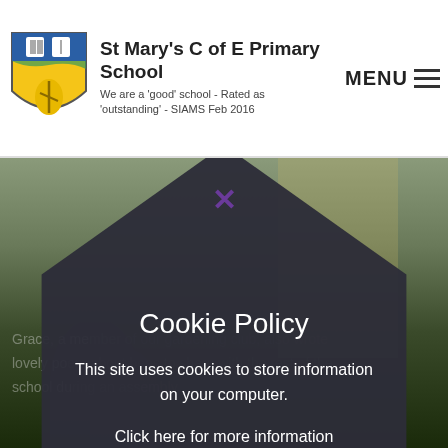St Mary's C of E Primary School — We are a 'good' school - Rated as 'outstanding' - SIAMS Feb 2016 — MENU
[Figure (screenshot): School website screenshot showing cookie policy modal overlay on top of a blurred classroom photo background. The modal has a dark rounded diamond/polygon shape with 'Cookie Policy' title, body text about cookies, a 'Click here for more information' link, and two buttons: 'Allow Cookies' and 'Deny Cookies'. There is a purple X close button at the top.]
Cookie Policy
This site uses cookies to store information on your computer.
Click here for more information